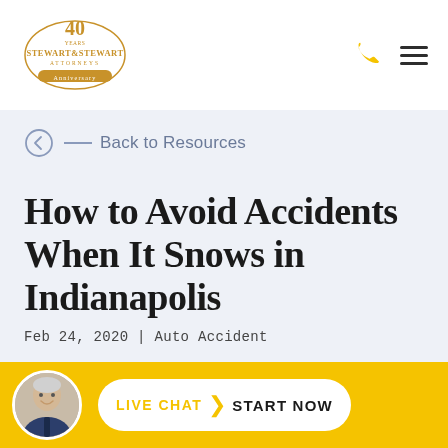[Figure (logo): Stewart & Stewart Attorneys 40th Anniversary logo in gold/brown tones]
Back to Resources
How to Avoid Accidents When It Snows in Indianapolis
Feb 24, 2020 | Auto Accident
[Figure (photo): Circular avatar photo of an elderly smiling man in a suit]
LIVE CHAT  START NOW